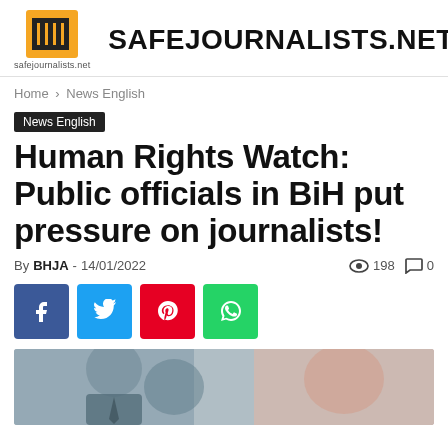safejournalists.net | SAFEJOURNALISTS.NET
Home › News English
News English
Human Rights Watch: Public officials in BiH put pressure on journalists!
By BHJA - 14/01/2022 · 198 views · 0 comments
[Figure (other): Social sharing buttons: Facebook, Twitter, Pinterest, WhatsApp]
[Figure (photo): Photo of a person in a suit with a tie, holding a phone, blurred background]